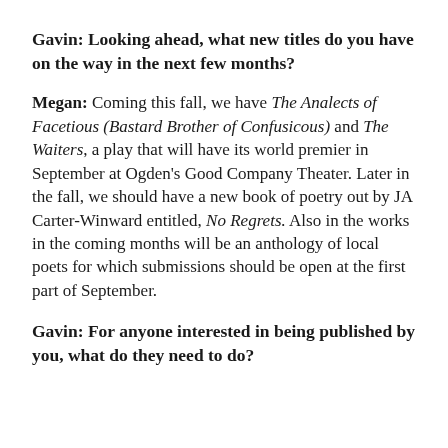Gavin: Looking ahead, what new titles do you have on the way in the next few months?
Megan: Coming this fall, we have The Analects of Facetious (Bastard Brother of Confusicous) and The Waiters, a play that will have its world premier in September at Ogden’s Good Company Theater. Later in the fall, we should have a new book of poetry out by JA Carter-Winward entitled, No Regrets. Also in the works in the coming months will be an anthology of local poets for which submissions should be open at the first part of September.
Gavin: For anyone interested in being published by you, what do they need to do?